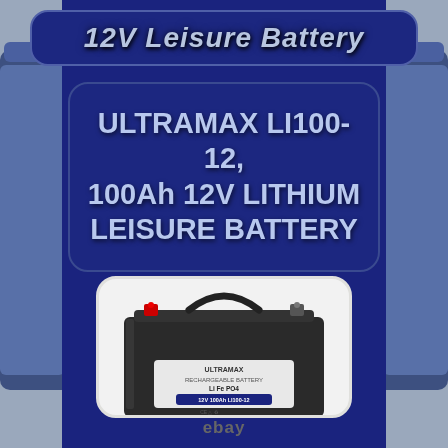12V Leisure Battery
ULTRAMAX LI100-12, 100Ah 12V LITHIUM LEISURE BATTERY
[Figure (photo): Photo of a black rectangular ULTRAMAX LI100-12 100Ah 12V lithium leisure battery with a carry handle on top, terminal bolts, and a label on the front showing LiFePO4 chemistry and model details including CE and safety symbols. The battery sits on a white background within a rounded rectangle frame.]
ebay